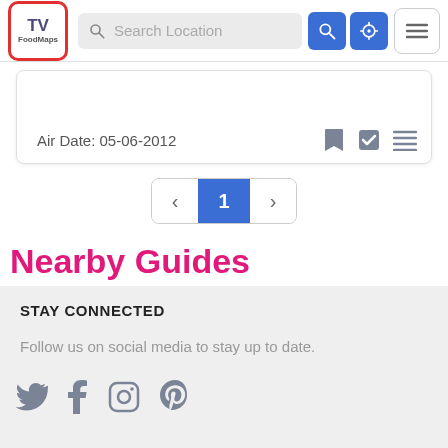[Figure (screenshot): TV FoodMaps logo in red rounded rectangle border]
Search Location
Air Date: 05-06-2012
1
Nearby Guides
STAY CONNECTED
Follow us on social media to stay up to date.
[Figure (illustration): Social media icons: Twitter, Facebook, Instagram, Pinterest]